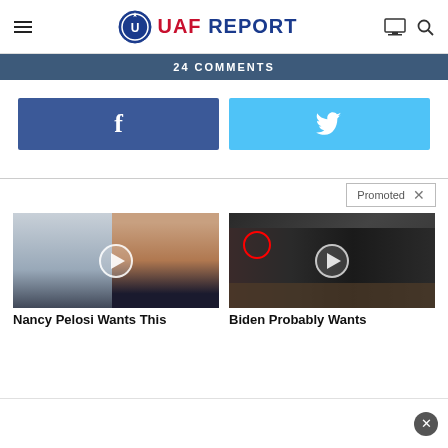UAF REPORT
24 COMMENTS
[Figure (screenshot): Facebook share button (blue)]
[Figure (screenshot): Twitter share button (light blue)]
Promoted X
[Figure (photo): Thumbnail image for Nancy Pelosi Wants This article with play button overlay]
Nancy Pelosi Wants This
[Figure (photo): Thumbnail image for Biden Probably Wants article with play button overlay and red circle]
Biden Probably Wants